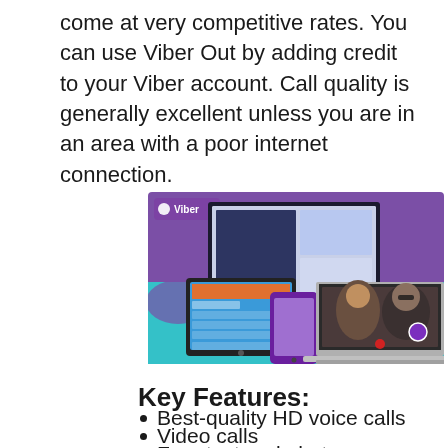come at very competitive rates. You can use Viber Out by adding credit to your Viber account. Call quality is generally excellent unless you are in an area with a poor internet connection.
[Figure (photo): Viber promotional image showing the app running on multiple devices including a desktop computer, tablet, smartphone, and laptop, with a purple and teal background and the Viber logo visible.]
Key Features:
Best-quality HD voice calls
Video calls
Free text and photo messages